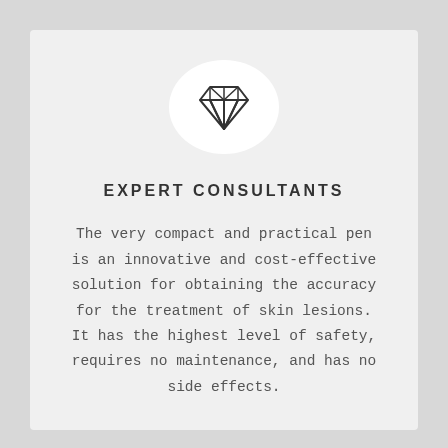[Figure (illustration): A diamond gem icon centered inside a white circle, rendered in dark outline style]
EXPERT CONSULTANTS
The very compact and practical pen is an innovative and cost-effective solution for obtaining the accuracy for the treatment of skin lesions. It has the highest level of safety, requires no maintenance, and has no side effects.